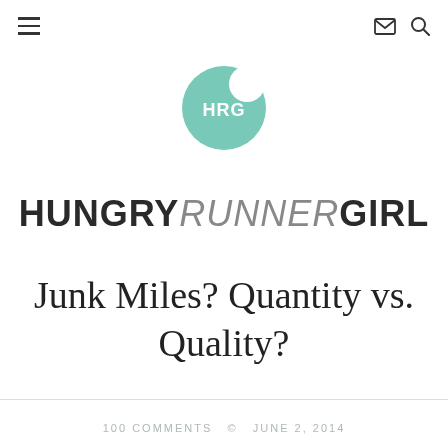≡  ✉  🔍
[Figure (logo): HRG circle logo — mint green circle with a bite taken out of the top right, white text 'HRG' in the center]
HUNGRY RUNNER GIRL
Junk Miles? Quantity vs. Quality?
100 COMMENTS  ©  JUNE 2, 2014